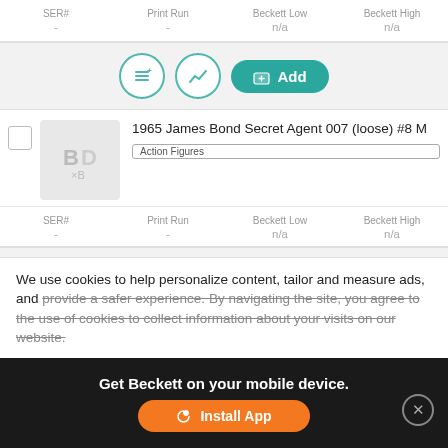| SER# | Print Run | Beckett Low | Beckett High |
| --- | --- | --- | --- |
| - | - | n/a | n/a |
[Figure (screenshot): Action buttons row: list icon, chart icon, Add to cart button (teal)]
1965 James Bond Secret Agent 007 (loose) #8 M
Action Figures
| SER# | Print Run | Beckett Low | Beckett High |
| --- | --- | --- | --- |
| - | - | n/a | n/a |
[Figure (screenshot): Action buttons row: list icon, chart icon, Add to cart button (teal)]
1965 James Bond Secret Agent 007 (loose) #9 Moneypenny
Action Figures
We use cookies to help personalize content, tailor and measure ads, and provide a safer experience. By navigating the site, you agree to the use of cookies to collect information about your visits on our website.
Get Beckett on your mobile device.
Install App